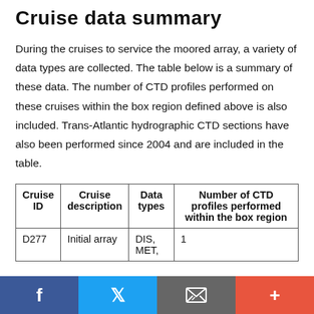Cruise data summary
During the cruises to service the moored array, a variety of data types are collected. The table below is a summary of these data. The number of CTD profiles performed on these cruises within the box region defined above is also included. Trans-Atlantic hydrographic CTD sections have also been performed since 2004 and are included in the table.
| Cruise ID | Cruise description | Data types | Number of CTD profiles performed within the box region |
| --- | --- | --- | --- |
| D277 | Initial array | DIS, MET, | 1 |